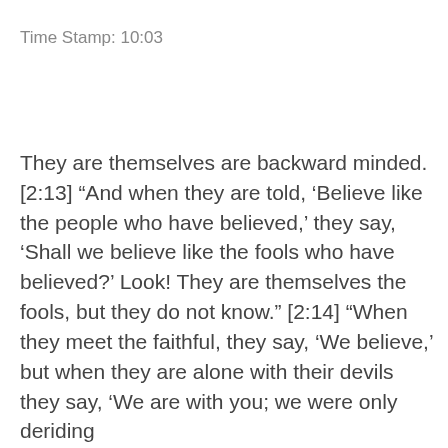Time Stamp: 10:03
They are themselves are backward minded. [2:13] “And when they are told, ‘Believe like the people who have believed,’ they say, ‘Shall we believe like the fools who have believed?’ Look! They are themselves the fools, but they do not know.” [2:14] “When they meet the faithful, they say, ‘We believe,’ but when they are alone with their devils they say, ‘We are with you; we were only deriding